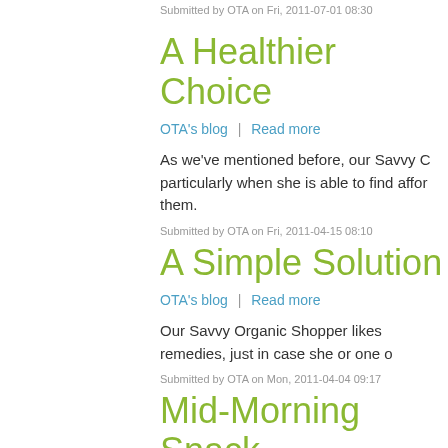Submitted by OTA on Fri, 2011-07-01 08:30
A Healthier Choice
OTA's blog | Read more
As we've mentioned before, our Savvy C... particularly when she is able to find affo... them.
Submitted by OTA on Fri, 2011-04-15 08:10
A Simple Solution
OTA's blog | Read more
Our Savvy Organic Shopper likes remedies, just in case she or one o...
Submitted by OTA on Mon, 2011-04-04 09:17
Mid-Morning Snack
OTA's blog | Read more
Like many people, our Savvy Organic Sh... snack.